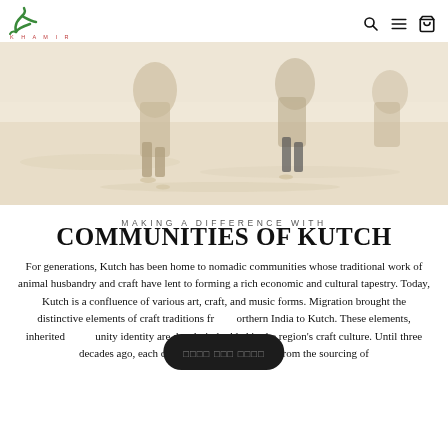KHAMIR — navigation with search, menu, and cart icons
[Figure (photo): Hero image showing nomadic figures walking on sandy desert ground, warm beige tones, figures in traditional dress partially visible]
MAKING A DIFFERENCE WITH
COMMUNITIES OF KUTCH
For generations, Kutch has been home to nomadic communities whose traditional work of animal husbandry and craft have lent to forming a rich economic and cultural tapestry. Today, Kutch is a confluence of various art, craft, and music forms. Migration brought the distinctive elements of craft traditions from northern India to Kutch. These elements, inherited community identity are deeply imbedded in the region's craft culture. Until three decades ago, each craft's production process, from the sourcing of